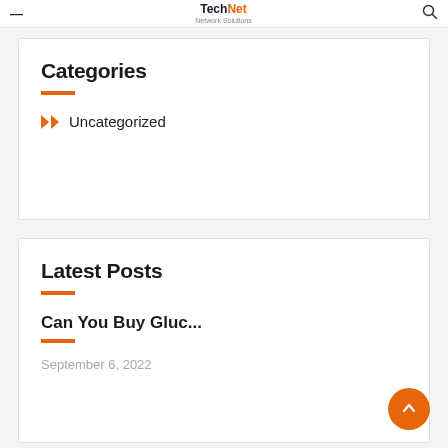TechNet Network Solutions
Categories
Uncategorized
Latest Posts
Can You Buy Gluc...
September 6, 2022